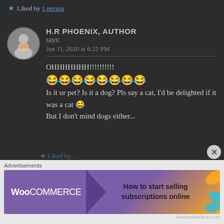★ Liked by 1 person
H.R PHOENIX, AUTHOR says:
Jun 11, 2020 at 6:22 PM
OHHHHHHH!!!!!!!!!! 😂😂😂😂😂😂😂😂 Is it ur pet? Is it a dog? Pls say a cat, I'd be delighted if it was a cat 😂 But I don't mind dogs either...
Advertisements
[Figure (screenshot): WooCommerce advertisement banner: 'How to start selling subscriptions online']